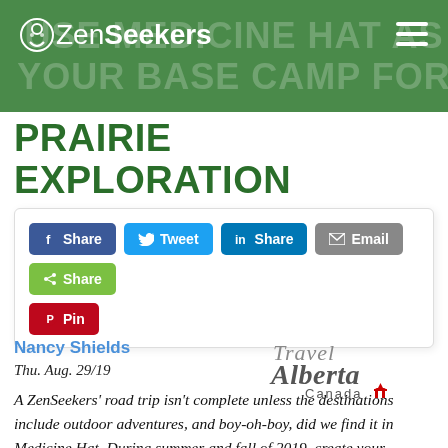ZenSeekers — Use Medicine Hat as Your Base Camp for Prairie Exploration
PRAIRIE EXPLORATION
[Figure (infographic): Social sharing buttons: Facebook Share, Twitter Tweet, LinkedIn Share, Email, ShareThis Share, Pinterest Pin]
Nancy Shields
Thu. Aug. 29/19
[Figure (logo): Travel Alberta Canada logo with maple leaf flag icon]
A ZenSeekers' road trip isn't complete unless the destinations include outdoor adventures, and boy-oh-boy, did we find it in Medicine Hat. During summer and fall of 2019, create your #BucketlistAB itinerary in